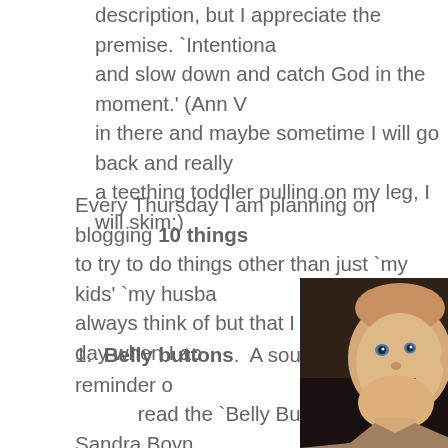description, but I appreciate the premise. `Intentiona and slow down and catch God in the moment.' (Ann V in there and maybe sometime I will go back and really a teething toddler pulling on my leg, I will skim:)
Every Thursday I am planning on blogging 10 things to try to do things other than just `my kids' `my husba always think of but that I can see in the day when I ac
Belly buttons.  A source of fun and a reminder o read the `Belly Button Book' by Sandra Boyn
[Figure (photo): A smiling baby or toddler photographed in low-light setting, facing slightly right, mouth open in a happy expression]